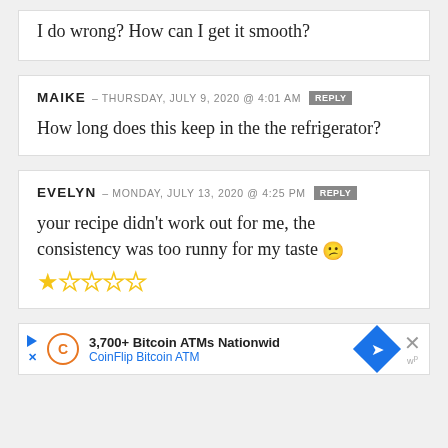I do wrong?  How can I get it smooth?
MAIKE — THURSDAY, JULY 9, 2020 @ 4:01 AM [REPLY]
How long does this keep in the the refrigerator?
EVELYN — MONDAY, JULY 13, 2020 @ 4:25 PM [REPLY]
your recipe didn't work out for me, the consistency was too runny for my taste 😕
★☆☆☆☆
3,700+ Bitcoin ATMs Nationwid
CoinFlip Bitcoin ATM